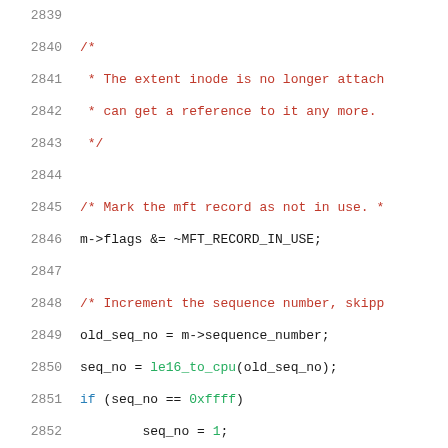[Figure (screenshot): Source code listing showing C code lines 2839-2860, with line numbers in gray, comments in red, keywords in blue, function calls and numbers in green, and regular code in dark/black. The code involves NTFS inode handling including flags manipulation, sequence number incrementing, and dirty inode writing.]